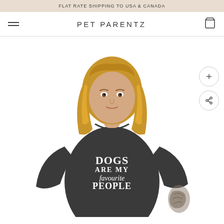FLAT RATE SHIPPING TO USA & CANADA
PET PARENTZ
[Figure (photo): Woman wearing a dark grey t-shirt that reads 'DOGS ARE MY favourite PEOPLE', with blonde wavy hair and visible tattoo on left forearm, photographed from waist up against white background]